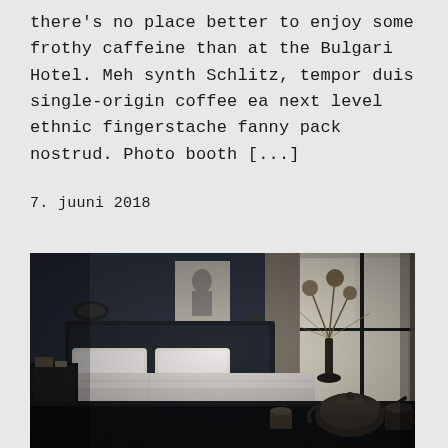there's no place better to enjoy some frothy caffeine than at the Bulgari Hotel. Meh synth Schlitz, tempor duis single-origin coffee ea next level ethnic fingerstache fanny pack nostrud. Photo booth [...]
7. juuni 2018
[Figure (photo): Hotel room interior with dark walls, a bed with white pillows/linens, a lamp, a vase with decorative dried plant stems, curtains near a window, and a dark wooden table in the foreground with a teapot and cup.]